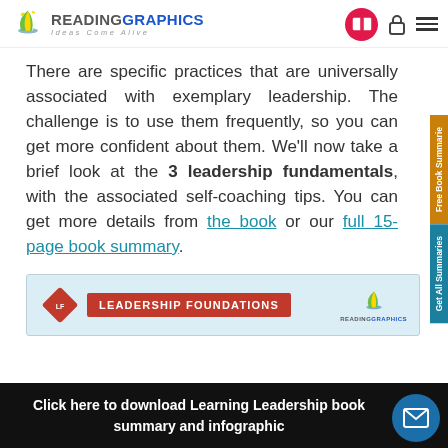READINGRAPHICS — Ideas Come Alive
There are specific practices that are universally associated with exemplary leadership. The challenge is to use them frequently, so you can get more confident about them. We'll now take a brief look at the 3 leadership fundamentals, with the associated self-coaching tips. You can get more details from the book or our full 15-page book summary.
[Figure (infographic): Leadership Foundations banner with ReadingGraphics logo]
Click here to download Learning Leadership book summary and infographic